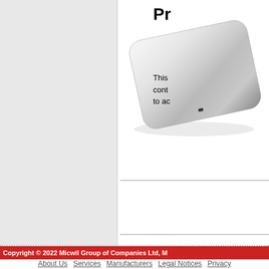Pr...
by 3...
[Figure (photo): A rectangular metallic/aluminum mouse pad or trackpad with rounded corners and a textured surface, shown at an angle on a white background.]
This cont to ac...
Copyright © 2022 Micwil Group of Companies Ltd, M...
About Us  Services  Manufacturers  Legal Notices  Privacy